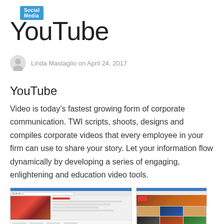Social Media
YouTube
Linda Mastaglio on April 24, 2017
YouTube
Video is today’s fastest growing form of corporate communication. TWI scripts, shoots, designs and compiles corporate videos that every employee in your firm can use to share your story. Let your information flow dynamically by developing a series of engaging, enlightening and education video tools.
[Figure (screenshot): Two screenshots of YouTube page interfaces showing video thumbnails and channel layouts]
[Figure (screenshot): Second screenshot of YouTube interface showing video grid thumbnails]